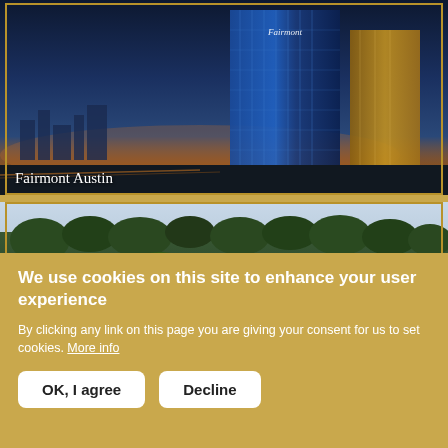[Figure (photo): Nighttime cityscape photo showing the Fairmont Austin hotel building illuminated in blue, with city skyline in background at dusk]
Fairmont Austin
[Figure (photo): Daytime landscape photo showing a green park with trees and a lake or river in the background under a light sky]
We use cookies on this site to enhance your user experience
By clicking any link on this page you are giving your consent for us to set cookies. More info
OK, I agree
Decline